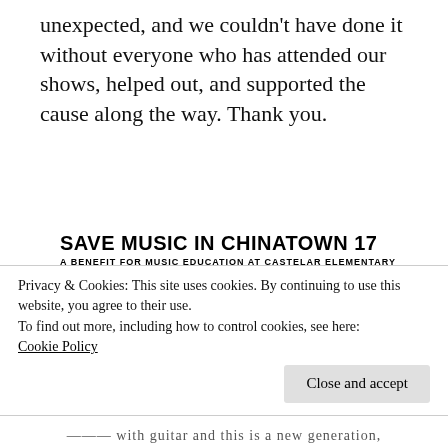unexpected, and we couldn't have done it without everyone who has attended our shows, helped out, and supported the cause along the way. Thank you.
[Figure (illustration): Concert flyer for Save Music in Chinatown 17, a benefit for music education at Castelar Elementary. Shows band names: The Dils (First Show Since 1979), Alley Cats (Danger-House Legends), Neko Neko w/ Hector, Just Added! Rhino 39. Features cartoon illustrations of two cat-faced characters.]
Privacy & Cookies: This site uses cookies. By continuing to use this website, you agree to their use.
To find out more, including how to control cookies, see here:
Cookie Policy
Close and accept
with guitar and this is a new generation,